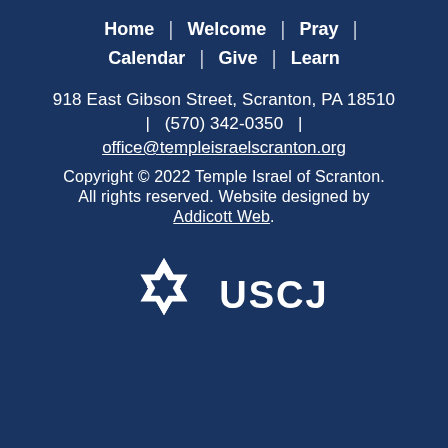Home | Welcome | Pray | Calendar | Give | Learn
918 East Gibson Street, Scranton, PA 18510
| (570) 342-0350 |
office@templeisraelscranton.org
Copyright © 2022 Temple Israel of Scranton. All rights reserved. Website designed by Addicott Web.
[Figure (logo): USCJ logo with Star of David emblem and text USCJ in white on dark blue background]